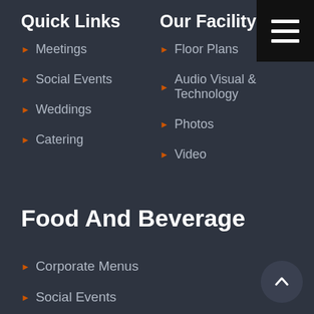Quick Links
Our Facility
Meetings
Social Events
Weddings
Catering
Floor Plans
Audio Visual & Technology
Photos
Video
Food And Beverage
Corporate Menus
Social Events
Wedding Packages
Express Offsite Catering